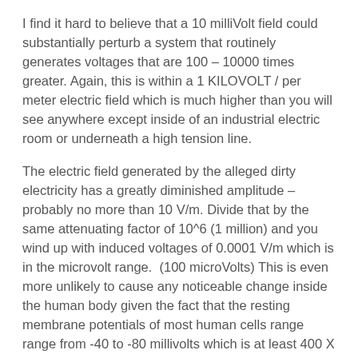I find it hard to believe that a 10 milliVolt field could substantially perturb a system that routinely generates voltages that are 100 – 10000 times greater. Again, this is within a 1 KILOVOLT / per meter electric field which is much higher than you will see anywhere except inside of an industrial electric room or underneath a high tension line.
The electric field generated by the alleged dirty electricity has a greatly diminished amplitude – probably no more than 10 V/m. Divide that by the same attenuating factor of 10^6 (1 million) and you wind up with induced voltages of 0.0001 V/m which is in the microvolt range. (100 microVolts) This is even more unlikely to cause any noticeable change inside the human body given the fact that the resting membrane potentials of most human cells range range from -40 to -80 millivolts which is at least 400 X to 800 X greater than the 100 microVolts cited. The negative numbers for the internal voltages of cells are stated as such because you are measuring the voltage with respect to the ECF (Extracellular Fluid) surrounding cells which is used as a ground reference.